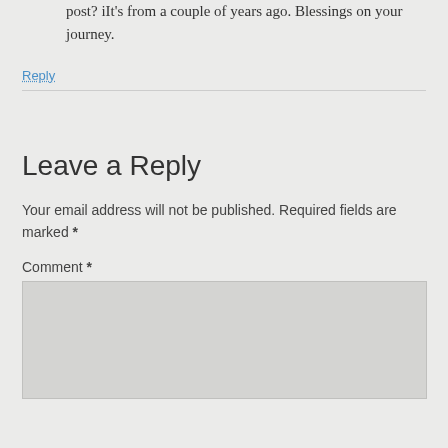post? iIt's from a couple of years ago. Blessings on your journey.
Reply
Leave a Reply
Your email address will not be published. Required fields are marked *
Comment *